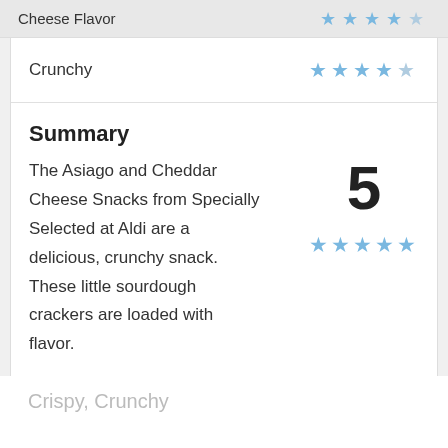Cheese Flavor
Crunchy
Summary
The Asiago and Cheddar Cheese Snacks from Specially Selected at Aldi are a delicious, crunchy snack.  These little sourdough crackers are loaded with flavor.
👍 Pros
Crispy, Crunchy